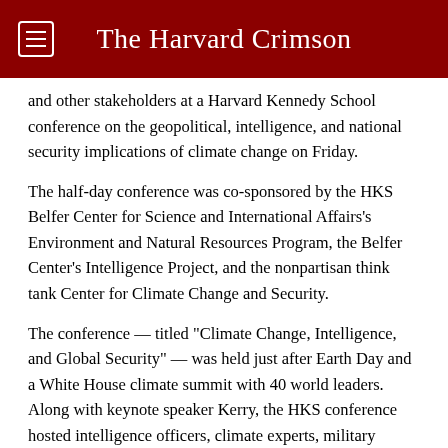The Harvard Crimson
and other stakeholders at a Harvard Kennedy School conference on the geopolitical, intelligence, and national security implications of climate change on Friday.
The half-day conference was co-sponsored by the HKS Belfer Center for Science and International Affairs’s Environment and Natural Resources Program, the Belfer Center’s Intelligence Project, and the nonpartisan think tank Center for Climate Change and Security.
The conference — titled “Climate Change, Intelligence, and Global Security” — was held just after Earth Day and a White House climate summit with 40 world leaders. Along with keynote speaker Kerry, the HKS conference hosted intelligence officers, climate experts, military personnel, and private sector stakeholders, such as the McKinsey Global Institute, to address climate change.